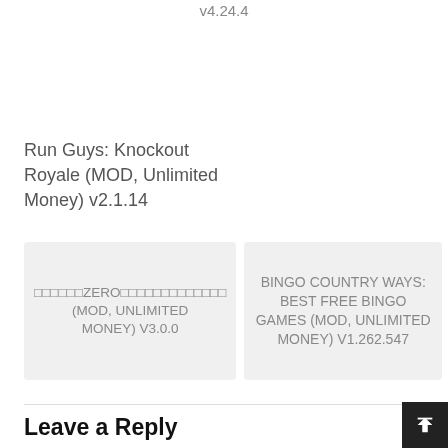v4.24.4
Run Guys: Knockout Royale (MOD, Unlimited Money) v2.1.14
□□□□□□ZERO□□□□□□□□□□□□□ (MOD, UNLIMITED MONEY) V3.0.0
BINGO COUNTRY WAYS: BEST FREE BINGO GAMES (MOD, UNLIMITED MONEY) V1.262.547
Leave a Reply
Your email address will not be published. Required fields are marked *